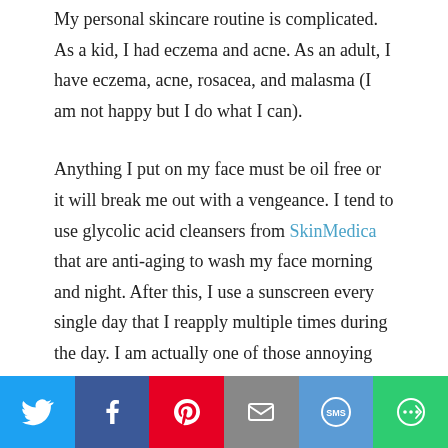My personal skincare routine is complicated. As a kid, I had eczema and acne. As an adult, I have eczema, acne, rosacea, and malasma (I am not happy but I do what I can).
Anything I put on my face must be oil free or it will break me out with a vengeance. I tend to use glycolic acid cleansers from SkinMedica that are anti-aging to wash my face morning and night. After this, I use a sunscreen every single day that I reapply multiple times during the day. I am actually one of those annoying dermatologists who practice what I preach. You'll never catch me smoking because that will flare my rosacea and make it much worse. I exercise every day, and I eat more vegetables than I care to.
Going back to my routine, I then put on an anti-aging
[Figure (infographic): Social sharing bar with Twitter, Facebook, Pinterest, Email, SMS, and More buttons]